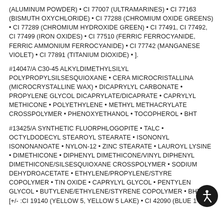(ALUMINUM POWDER) • CI 77007 (ULTRAMARINES) • CI 77163 (BISMUTH OXYCHLORIDE) • CI 77288 (CHROMIUM OXIDE GREENS) • CI 77289 (CHROMIUM HYDROXIDE GREEN) • CI 77491, CI 77492, CI 77499 (IRON OXIDES) • CI 77510 (FERRIC FERROCYANIDE, FERRIC AMMONIUM FERROCYANIDE) • CI 77742 (MANGANESE VIOLET) • CI 77891 (TITANIUM DIOXIDE) • ].
#14047/A C30-45 ALKYLDIMETHYLSILYL POLYPROPYLSILSESQUIOXANE • CERA MICROCRISTALLINA (MICROCRYSTALLINE WAX) • DICAPRYLYL CARBONATE • PROPYLENE GLYCOL DICAPRYLATE/DICAPRATE • CAPRYLYL METHICONE • POLYETHYLENE • METHYL METHACRYLATE CROSSPOLYMER • PHENOXYETHANOL • TOCOPHEROL • BHT
#13425/A SYNTHETIC FLUORPHLOGOPITE • TALC • OCTYLDODECYL STEAROYL STEARATE • ISONONYL ISONONANOATE • NYLON-12 • ZINC STEARATE • LAUROYL LYSINE • DIMETHICONE • DIPHENYL DIMETHICONE/VINYL DIPHENYL DIMETHICONE/SILSESQUIOXANE CROSSPOLYMER • SODIUM DEHYDROACETATE • ETHYLENE/PROPYLENE/STYRENE COPOLYMER • TIN OXIDE • CAPRYLYL GLYCOL • PENTYLENE GLYCOL • BUTYLENE/ETHYLENE/STYRENE COPOLYMER • BHT • [+/- :CI 19140 (YELLOW 5, YELLOW 5 LAKE) • CI 42090 (BLUE 1